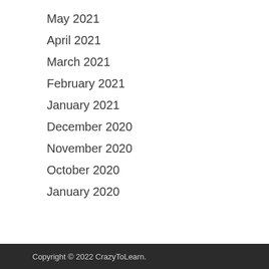May 2021
April 2021
March 2021
February 2021
January 2021
December 2020
November 2020
October 2020
January 2020
Copyright © 2022 CrazyToLearn.